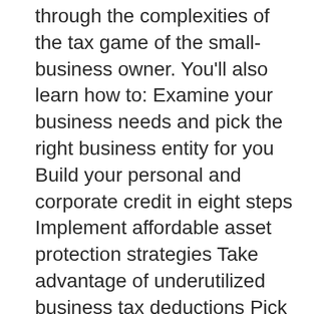through the complexities of the tax game of the small-business owner. You'll also learn how to: Examine your business needs and pick the right business entity for you Build your personal and corporate credit in eight steps Implement affordable asset protection strategies Take advantage of underutilized business tax deductions Pick the right health-care, retirement, and estate plans Bring on partners and investors the right way Plan for your future with self-directed retirement funds Reading from cover to cover or refer to each chapter as needed, you will come away wiser and better equipped to make the best decisions for your business, your family, and yourself.